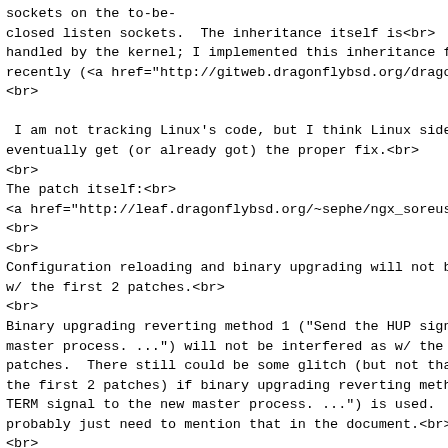sockets on the to-be-
closed listen sockets.  The inheritance itself is<br>
handled by the kernel; I implemented this inheritance for
recently (<a href="http://gitweb.dragonflybsd.org/dragont
<br>

 I am not tracking Linux's code, but I think Linux side w
eventually get (or already got) the proper fix.<br>
<br>
The patch itself:<br>
<a href="http://leaf.dragonflybsd.org/~sephe/ngx_soreusep
<br>
<br>
Configuration reloading and binary upgrading will not be
w/ the first 2 patches.<br>
<br>
Binary upgrading reverting method 1 ("Send the HUP signa
master process. ...") will not be interfered as w/ the fi
patches.  There still could be some glitch (but not that
the first 2 patches) if binary upgrading reverting method
TERM signal to the new master process. ...") is used.  I
probably just need to mention that in the document.<br>
<br>
Best Regards,<br>
sephe<br>
<span class="HOEnZb"><font color="#888888"><br>
--<br>
Tomorrow Will Never Die<br>
</font></span></blockquote></div><br><br clear="all">
<br>-- <br>Tomorrow Will Never Die
...